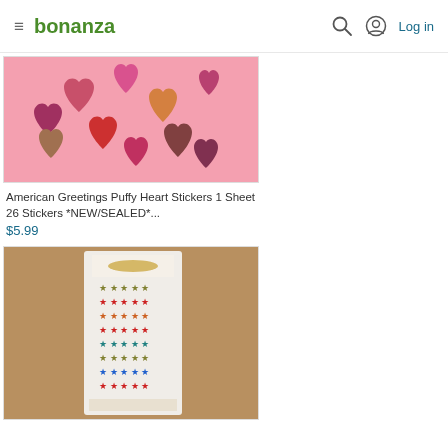bonanza  Log in
[Figure (photo): American Greetings Puffy Heart Stickers product photo on pink background with assorted heart stickers]
American Greetings Puffy Heart Stickers 1 Sheet 26 Stickers *NEW/SEALED*...
$5.99
[Figure (photo): Colorful star stickers sheet in plastic packaging on brown cardboard background]